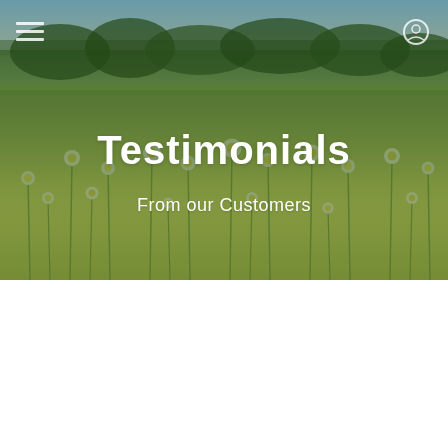[Figure (photo): Hero banner photo of a field of white and yellow daisy flowers with green stems, with a dark green tree line and pale blue-grey sky in the background. Semi-transparent dark overlay applied for text contrast.]
Testimonials
From our Customers